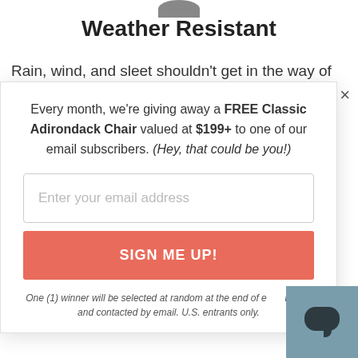Weather Resistant
Rain, wind, and sleet shouldn't get in the way of enjoying your outdoor furniture
Every month, we're giving away a FREE Classic Adirondack Chair valued at $199+ to one of our email subscribers. (Hey, that could be you!)
Enter your email address
SIGN ME UP!
One (1) winner will be selected at random at the end of each month and contacted by email. U.S. entrants only.